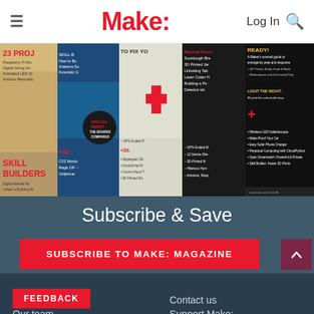Make:   Log In
[Figure (photo): Strip of Make: magazine covers side by side showing various issues with maker/DIY projects]
Subscribe & Save
SUBSCRIBE TO MAKE: MAGAZINE
About us
Our team
FEEDBACK
Contact us
Support Make: